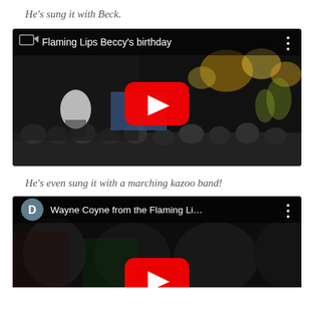He's sung it with Beck.
[Figure (screenshot): YouTube video thumbnail titled 'Flaming Lips Beccy's birthday' showing a concert scene with stage lights and a crowd, with a red YouTube play button in the center and a three-dot menu icon in the top right.]
He's even sung it with a marching kazoo band!
[Figure (screenshot): YouTube video thumbnail titled 'Wayne Coyne from the Flaming Li...' showing a dark scene with silhouettes of people and a 'D' avatar icon in the top left, with a red YouTube play button partially visible at the bottom center.]